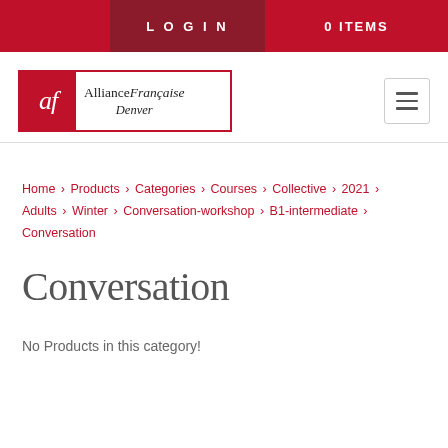LOGIN   0 ITEMS
[Figure (logo): Alliance Française Denver logo with red af badge]
Home › Products › Categories › Courses › Collective › 2021 › Adults › Winter › Conversation-workshop › B1-intermediate › Conversation
Conversation
No Products in this category!